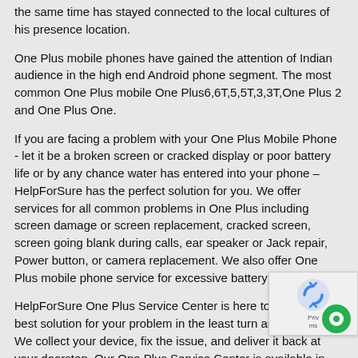the same time has stayed connected to the local cultures of his presence location.
One Plus mobile phones have gained the attention of Indian audience in the high end Android phone segment. The most common One Plus mobile One Plus6,6T,5,5T,3,3T,One Plus 2 and One Plus One.
If you are facing a problem with your One Plus Mobile Phone - let it be a broken screen or cracked display or poor battery life or by any chance water has entered into your phone – HelpForSure has the perfect solution for you. We offer services for all common problems in One Plus including screen damage or screen replacement, cracked screen, screen going blank during calls, ear speaker or Jack repair, Power button, or camera replacement. We also offer One Plus mobile phone service for excessive battery heating too.
HelpForSure One Plus Service Center is here to provide the best solution for your problem in the least turn around time. We collect your device, fix the issue, and deliver it back at your doorstep. Our One Plus Service Center is available in mumbai and pick-ups for your broken phone is available at your convenience at your doorstep anywhere in mumbai.
Mumbai is considered to be the Financial Capital of India with a